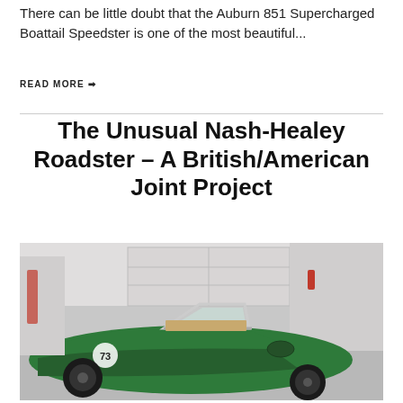There can be little doubt that the Auburn 851 Supercharged Boattail Speedster is one of the most beautiful...
READ MORE ➡
The Unusual Nash-Healey Roadster – A British/American Joint Project
[Figure (photo): Green Nash-Healey Roadster with number 73, parked in a garage with white walls and garage doors visible in background.]